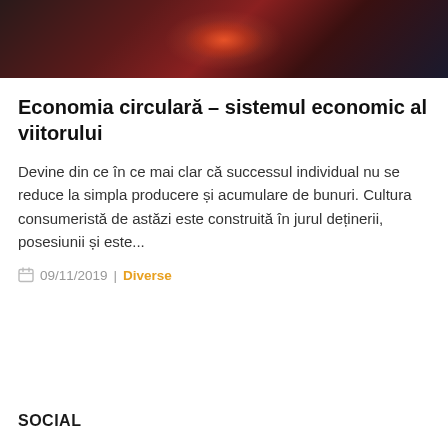[Figure (photo): Dark atmospheric hero image with red and orange glowing light in the center, possibly a car or industrial scene with dramatic lighting]
Economia circulară – sistemul economic al viitorului
Devine din ce în ce mai clar că successul individual nu se reduce la simpla producere și acumulare de bunuri. Cultura consumeristă de astăzi este construită în jurul deținerii, posesiunii și este...
09/11/2019 | Diverse
SOCIAL